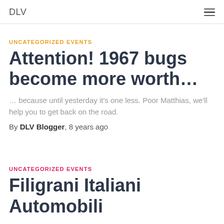DLV
UNCATEGORIZED EVENTS
Attention! 1967 bugs become more worth…
… because until yesterday it's one less. Poor Matthias, we'll help you to get back on the road.
By DLV Blogger, 8 years ago
UNCATEGORIZED EVENTS
Filigrani Italiani Automobili